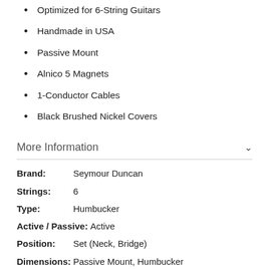Optimized for 6-String Guitars
Handmade in USA
Passive Mount
Alnico 5 Magnets
1-Conductor Cables
Black Brushed Nickel Covers
More Information
Brand: Seymour Duncan
Strings: 6
Type: Humbucker
Active / Passive: Active
Position: Set (Neck, Bridge)
Dimensions: Passive Mount, Humbucker